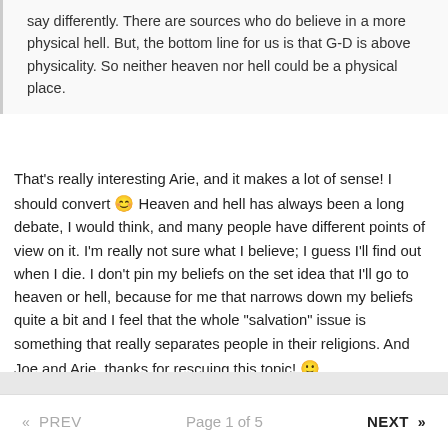say differently. There are sources who do believe in a more physical hell. But, the bottom line for us is that G-D is above physicality. So neither heaven nor hell could be a physical place.
That's really interesting Arie, and it makes a lot of sense! I should convert 😊 Heaven and hell has always been a long debate, I would think, and many people have different points of view on it. I'm really not sure what I believe; I guess I'll find out when I die. I don't pin my beliefs on the set idea that I'll go to heaven or hell, because for me that narrows down my beliefs quite a bit and I feel that the whole "salvation" issue is something that really separates people in their religions. And Joe and Arie, thanks for rescuing this topic! 🙂
« PREV   Page 1 of 5   NEXT »